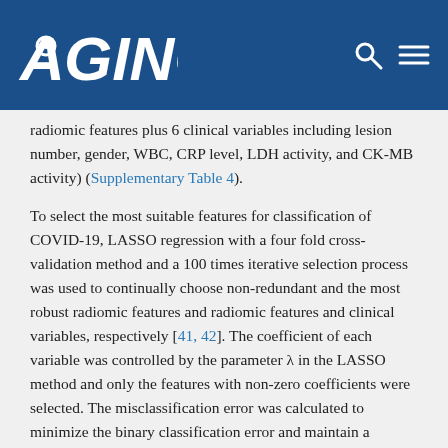AGING
radiomic features plus 6 clinical variables including lesion number, gender, WBC, CRP level, LDH activity, and CK-MB activity) (Supplementary Table 4).
To select the most suitable features for classification of COVID-19, LASSO regression with a four fold cross-validation method and a 100 times iterative selection process was used to continually choose non-redundant and the most robust radiomic features and radiomic features and clinical variables, respectively [41, 42]. The coefficient of each variable was controlled by the parameter λ in the LASSO method and only the features with non-zero coefficients were selected. The misclassification error was calculated to minimize the binary classification error and maintain a balance of optimal classification performance and the optimal number of radiomic features needed for binary classification (COVID-19 vs. non-COVID-19).